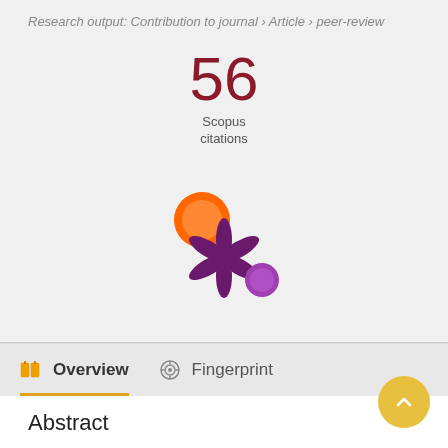Research output: Contribution to journal › Article › peer-review
[Figure (infographic): 56 Scopus citations metric display with large dark red number 56 above text 'Scopus citations']
[Figure (logo): Altmetric donut/asterisk logo with orange circle top-left, purple asterisk/snowflake center, and small purple circle bottom-right]
Overview
Fingerprint
Abstract